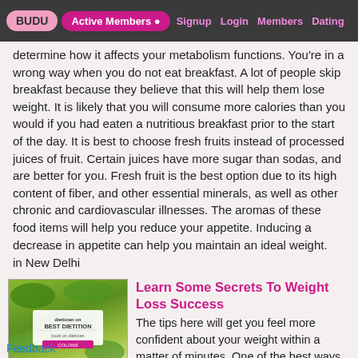BUDU | Active Members • | Signup | Login | Members | Dating
determine how it affects your metabolism functions. You're in a wrong way when you do not eat breakfast. A lot of people skip breakfast because they believe that this will help them lose weight. It is likely that you will consume more calories than you would if you had eaten a nutritious breakfast prior to the start of the day. It is best to choose fresh fruits instead of processed juices of fruit. Certain juices have more sugar than sodas, and are better for you. Fresh fruit is the best option due to its high content of fiber, and other essential minerals, as well as other chronic and cardiovascular illnesses. The aromas of these food items will help you reduce your appetite. Inducing a decrease in appetite can help you maintain an ideal weight.
in New Delhi
[Figure (photo): Thumbnail image of a book titled 'Best Dietition' with green vegetable background]
Learn Some Secrets To Weight Loss Success
The tips here will get you feel more confident about your weight within a matter of minutes. One of the best ways to lose weight is to drink coffee. Have someone